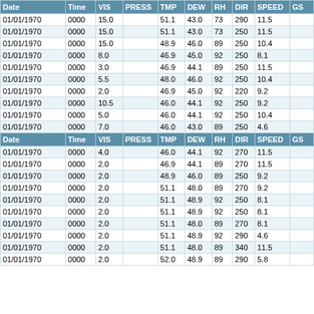| Date | Time | VIS | PRESS | TMP | DEW | RH | DIR | SPEED | GS |
| --- | --- | --- | --- | --- | --- | --- | --- | --- | --- |
| 01/01/1970 | 0000 | 15.0 |  | 51.1 | 43.0 | 73 | 290 | 11.5 |  |
| 01/01/1970 | 0000 | 15.0 |  | 51.1 | 43.0 | 73 | 250 | 11.5 |  |
| 01/01/1970 | 0000 | 15.0 |  | 48.9 | 46.0 | 89 | 250 | 10.4 |  |
| 01/01/1970 | 0000 | 8.0 |  | 46.9 | 45.0 | 92 | 250 | 8.1 |  |
| 01/01/1970 | 0000 | 3.0 |  | 46.9 | 44.1 | 89 | 250 | 11.5 |  |
| 01/01/1970 | 0000 | 5.5 |  | 48.0 | 46.0 | 92 | 250 | 10.4 |  |
| 01/01/1970 | 0000 | 2.0 |  | 46.9 | 45.0 | 92 | 220 | 9.2 |  |
| 01/01/1970 | 0000 | 10.5 |  | 46.0 | 44.1 | 92 | 250 | 9.2 |  |
| 01/01/1970 | 0000 | 5.0 |  | 46.0 | 44.1 | 92 | 250 | 10.4 |  |
| 01/01/1970 | 0000 | 7.0 |  | 46.0 | 43.0 | 89 | 250 | 4.6 |  |
| Date | Time | VIS | PRESS | TMP | DEW | RH | DIR | SPEED | GS |
| 01/01/1970 | 0000 | 4.0 |  | 46.0 | 44.1 | 92 | 270 | 11.5 |  |
| 01/01/1970 | 0000 | 2.0 |  | 46.9 | 44.1 | 89 | 270 | 11.5 |  |
| 01/01/1970 | 0000 | 2.0 |  | 48.9 | 46.0 | 89 | 250 | 9.2 |  |
| 01/01/1970 | 0000 | 2.0 |  | 51.1 | 48.0 | 89 | 270 | 9.2 |  |
| 01/01/1970 | 0000 | 2.0 |  | 51.1 | 48.9 | 92 | 250 | 8.1 |  |
| 01/01/1970 | 0000 | 2.0 |  | 51.1 | 48.9 | 92 | 250 | 8.1 |  |
| 01/01/1970 | 0000 | 2.0 |  | 51.1 | 48.0 | 89 | 270 | 8.1 |  |
| 01/01/1970 | 0000 | 2.0 |  | 51.1 | 48.9 | 92 | 290 | 4.6 |  |
| 01/01/1970 | 0000 | 2.0 |  | 51.1 | 48.0 | 89 | 340 | 11.5 |  |
| 01/01/1970 | 0000 | 2.0 |  | 52.0 | 48.9 | 89 | 290 | 5.8 |  |